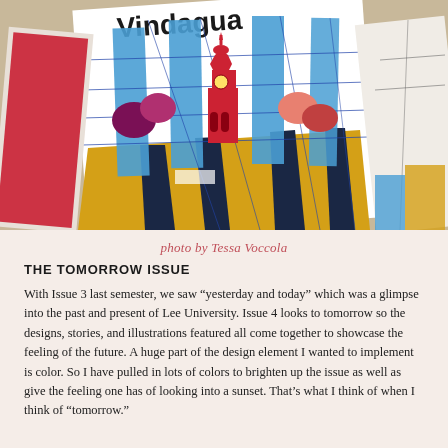[Figure (photo): A photograph of printed magazine covers featuring colorful graphic design with the word 'Vindagua' at the top, depicting a stylized cityscape with a bell tower, bold blue columns, yellow and dark blue geometric shapes, and abstract colorful trees. Multiple copies of the magazine are slightly overlapping on a beige surface.]
photo by Tessa Voccola
THE TOMORROW ISSUE
With Issue 3 last semester, we saw “yesterday and today” which was a glimpse into the past and present of Lee University. Issue 4 looks to tomorrow so the designs, stories, and illustrations featured all come together to showcase the feeling of the future. A huge part of the design element I wanted to implement is color. So I have pulled in lots of colors to brighten up the issue as well as give the feeling one has of looking into a sunset. That’s what I think of when I think of “tomorrow.”